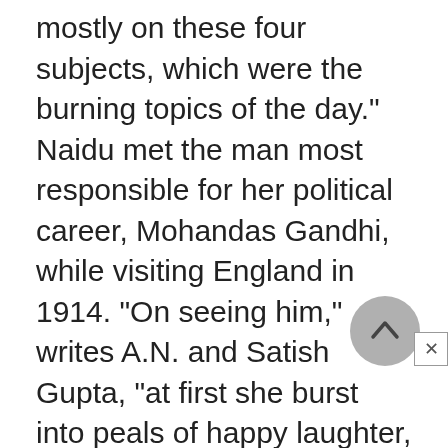mostly on these four subjects, which were the burning topics of the day." Naidu met the man most responsible for her political career, Mohandas Gandhi, while visiting England in 1914. "On seeing him," writes A.N. and Satish Gupta, "at first she burst into peals of happy laughter, for he could present to her an amusing and unexpected vision of a famous leader. He lifted his eyes and laughed back at her and offered her the meal he was taking, which was...